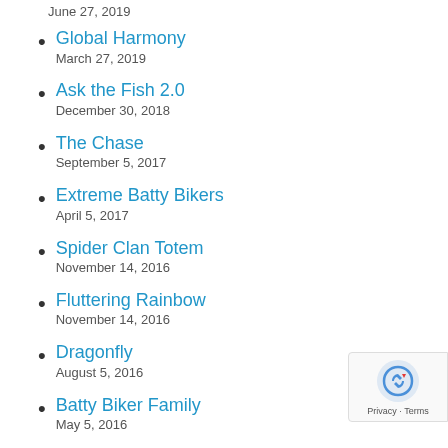June 27, 2019
Global Harmony
March 27, 2019
Ask the Fish 2.0
December 30, 2018
The Chase
September 5, 2017
Extreme Batty Bikers
April 5, 2017
Spider Clan Totem
November 14, 2016
Fluttering Rainbow
November 14, 2016
Dragonfly
August 5, 2016
Batty Biker Family
May 5, 2016